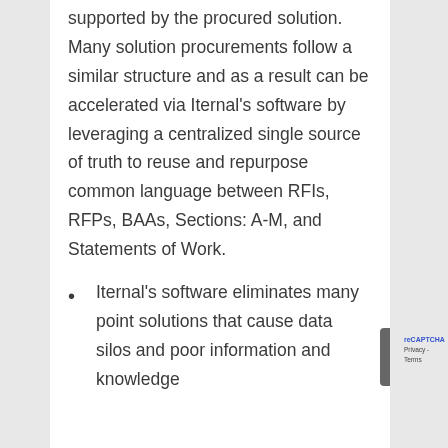supported by the procured solution. Many solution procurements follow a similar structure and as a result can be accelerated via Iternal's software by leveraging a centralized single source of truth to reuse and repurpose common language between RFIs, RFPs, BAAs, Sections: A-M, and Statements of Work.
Iternal's software eliminates many point solutions that cause data silos and poor information and knowledge